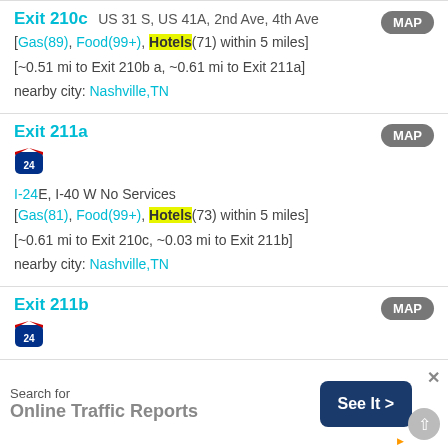Exit 210c  US 31 S, US 41A, 2nd Ave, 4th Ave [Gas(89), Food(99+), Hotels(71) within 5 miles] [~0.51 mi to Exit 210b a, ~0.61 mi to Exit 211a] nearby city: Nashville,TN
Exit 211a  I-24E, I-40 W No Services [Gas(81), Food(99+), Hotels(73) within 5 miles] [~0.61 mi to Exit 210c, ~0.03 mi to Exit 211b] nearby city: Nashville,TN
Exit 211b  I-24 W No Services [Gas(82), Food(99+), Hotels(73) within 5 miles]
Search for Online Traffic Reports